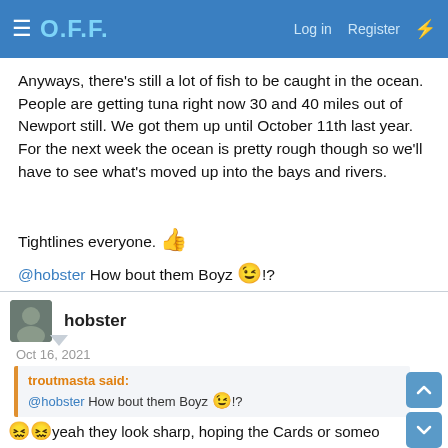O.F.F. — Log in  Register
Anyways, there's still a lot of fish to be caught in the ocean. People are getting tuna right now 30 and 40 miles out of Newport still. We got them up until October 11th last year. For the next week the ocean is pretty rough though so we'll have to see what's moved up into the bays and rivers.
Tightlines everyone. 👍
@hobster How bout them Boyz 😉!?
hobster
Oct 16, 2021
troutmasta said: @hobster How bout them Boyz 😉!?
🔴🔴yeah they look sharp, hoping the Cards or someone else